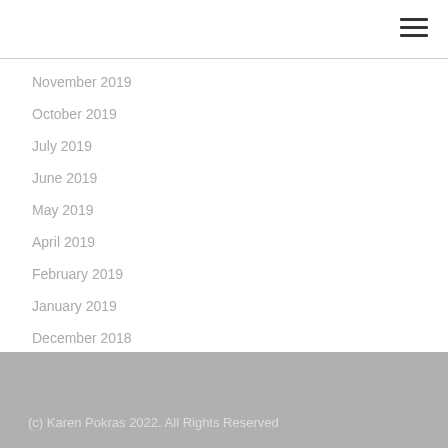[Figure (other): Hamburger menu icon (three horizontal lines) in top-right corner]
November 2019
October 2019
July 2019
June 2019
May 2019
April 2019
February 2019
January 2019
December 2018
November 2018
October 2018
(c) Karen Pokras 2022. All Rights Reserved